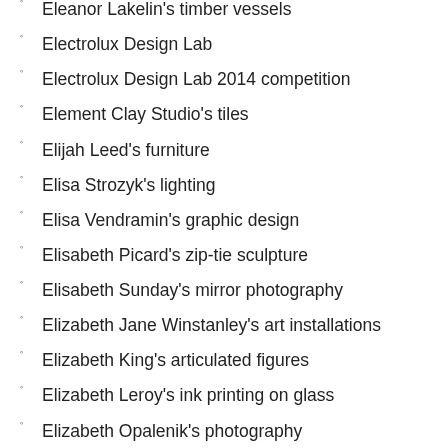Eleanor Lakelin's timber vessels
Electrolux Design Lab
Electrolux Design Lab 2014 competition
Element Clay Studio's tiles
Elijah Leed's furniture
Elisa Strozyk's lighting
Elisa Vendramin's graphic design
Elisabeth Picard's zip-tie sculpture
Elisabeth Sunday's mirror photography
Elizabeth Jane Winstanley's art installations
Elizabeth King's articulated figures
Elizabeth Leroy's ink printing on glass
Elizabeth Opalenik's photography
Elliat Rich's furniture & art
Elliot Walker's glass sculpture
Elliott + Associates Architects
Ellis Nadler's illustrations